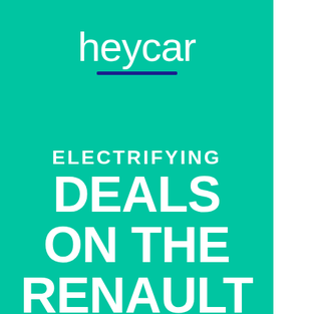[Figure (logo): heycar logo: white lowercase text 'heycar' with a dark blue underline bar, on teal/green background]
ELECTRIFYING DEALS ON THE RENAULT